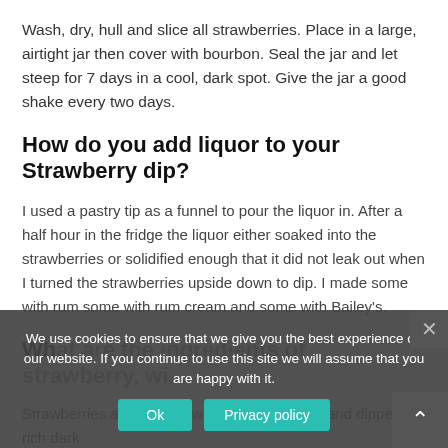Wash, dry, hull and slice all strawberries. Place in a large, airtight jar then cover with bourbon. Seal the jar and let steep for 7 days in a cool, dark spot. Give the jar a good shake every two days.
How do you add liquor to your Strawberry dip?
I used a pastry tip as a funnel to pour the liquor in. After a half hour in the fridge the liquor either soaked into the strawberries or solidified enough that it did not leak out when I turned the strawberries upside down to dip. I made some with rum some with rum cream and some with Bailey’s.
What are the ingredients of strawberry, white...
Strawberries are injected with orange brandy, and dipped in rich dark
We use cookies to ensure that we give you the best experience on our website. If you continue to use this site we will assume that you are happy with it.